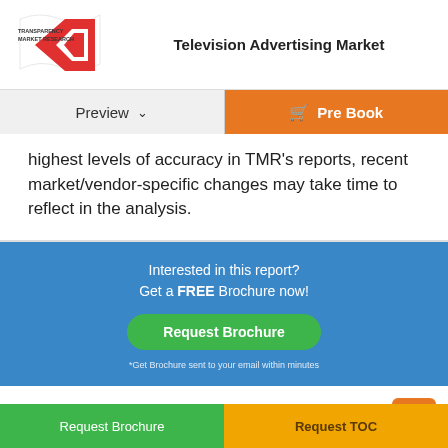Television Advertising Market
highest levels of accuracy in TMR’s reports, recent market/vendor-specific changes may take time to reflect in the analysis.
Interested in this report? Get a FREE Brochure now!
Request Brochure
*Get Brochure sent to your email within minutes
- Frequently Asked Questions -
Request Brochure | Request TOC